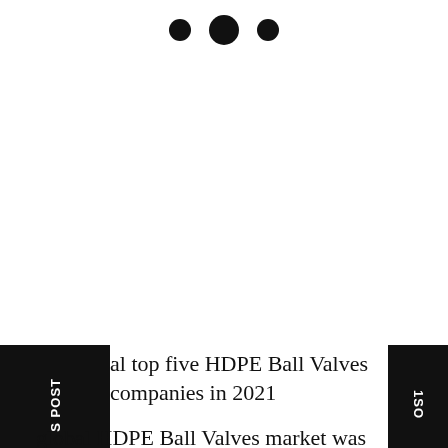[Figure (other): Three black dots (navigation/pagination indicators) centered at the top of the page]
al top five HDPE Ball Valves companies in 2021
global HDPE Ball Valves market was valued at million in 2021 and is projected to reach US$ million by 2028, at a CAGR of % during the forecast period.
The U.S. Market is Estimated at $ Million in 2021, While China is Forecast to Reach $ Million by 2028.